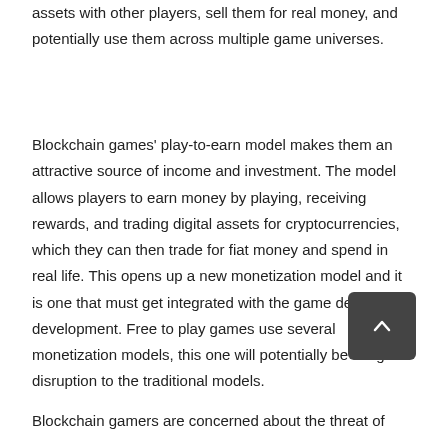assets with other players, sell them for real money, and potentially use them across multiple game universes.
Blockchain games' play-to-earn model makes them an attractive source of income and investment. The model allows players to earn money by playing, receiving rewards, and trading digital assets for cryptocurrencies, which they can then trade for fiat money and spend in real life. This opens up a new monetization model and it is one that must get integrated with the game design and development. Free to play games use several monetization models, this one will potentially be a big disruption to the traditional models.
Blockchain gamers are concerned about the threat of